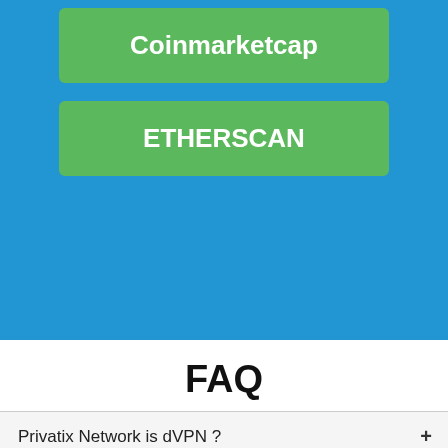[Figure (screenshot): Blue background section with two green buttons: 'Coinmarketcap' and 'ETHERSCAN']
FAQ
Privatix Network is dVPN ?
How can I sell bandwidth for real ?
How can I use your VPN as consumer ?
Is Privatix Network working on blockchain